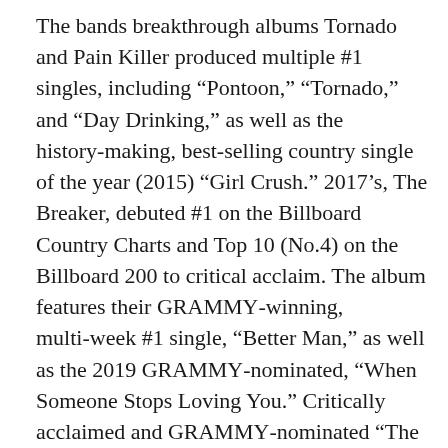The bands breakthrough albums Tornado and Pain Killer produced multiple #1 singles, including “Pontoon,” “Tornado,” and “Day Drinking,” as well as the history-making, best-selling country single of the year (2015) “Girl Crush.” 2017’s, The Breaker, debuted #1 on the Billboard Country Charts and Top 10 (No.4) on the Billboard 200 to critical acclaim. The album features their GRAMMY-winning, multi-week #1 single, “Better Man,” as well as the 2019 GRAMMY-nominated, “When Someone Stops Loving You.” Critically acclaimed and GRAMMY-nominated “The Daughters,” “Over Drinking,” and hit single “Wine, Beer, Whiskey” are the latest from the bands self-produced ninth studio album